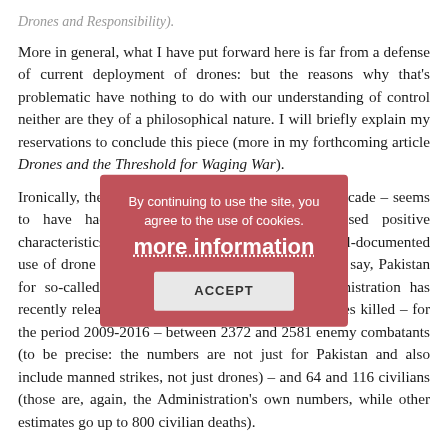Drones and Responsibility).
More in general, what I have put forward here is far from a defense of current deployment of drones: but the reasons why that's problematic have nothing to do with our understanding of control neither are they of a philosophical nature. I will briefly explain my reservations to conclude this piece (more in my forthcoming article Drones and the Threshold for Waging War).
Ironically, the problem with drones – over the last decade – seems to have had to do exactly with their supposed positive characteristics of being safe and precise; take the well-documented use of drone strikes by the United States in parts of, say, Pakistan for so-called targeted killings. The Obama Administration has recently released data, according to which such strikes killed – for the period 2009-2016 – between 2372 and 2581 enemy combatants (to be precise: the numbers are not just for Pakistan and also include manned strikes, not just drones) – and 64 and 116 civilians (those are, again, the Administration's own numbers, while other estimates go up to 800 civilian deaths).
We can, fairly, uncontroversially, assume that, many of
[Figure (other): Cookie consent modal overlay with dark rose/red background. Text reads: 'By continuing to use the site, you agree to the use of cookies. more information' with an ACCEPT button below.]